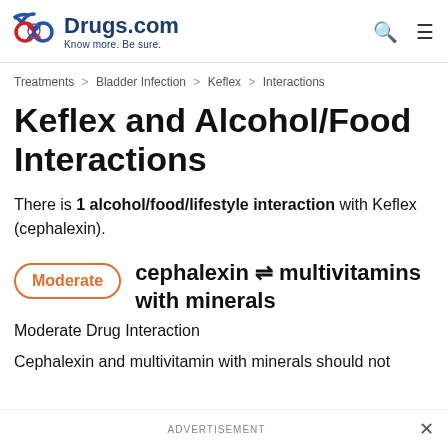Drugs.com — Know more. Be sure.
Treatments > Bladder Infection > Keflex > Interactions
Keflex and Alcohol/Food Interactions
There is 1 alcohol/food/lifestyle interaction with Keflex (cephalexin).
Moderate   cephalexin ⇌ multivitamins with minerals
Moderate Drug Interaction
Cephalexin and multivitamin with minerals should not